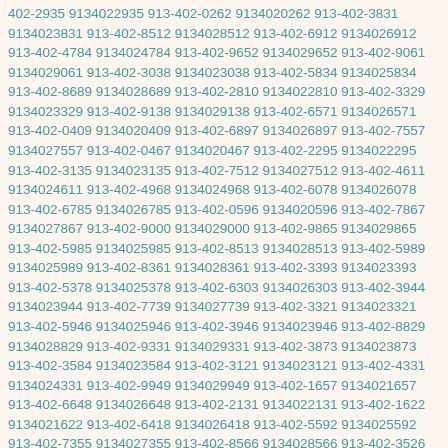402-2935 9134022935 913-402-0262 9134020262 913-402-3831 9134023831 913-402-8512 9134028512 913-402-6912 9134026912 913-402-4784 9134024784 913-402-9652 9134029652 913-402-9061 9134029061 913-402-3038 9134023038 913-402-5834 9134025834 913-402-8689 9134028689 913-402-2810 9134022810 913-402-3329 9134023329 913-402-9138 9134029138 913-402-6571 9134026571 913-402-0409 9134020409 913-402-6897 9134026897 913-402-7557 9134027557 913-402-0467 9134020467 913-402-2295 9134022295 913-402-3135 9134023135 913-402-7512 9134027512 913-402-4611 9134024611 913-402-4968 9134024968 913-402-6078 9134026078 913-402-6785 9134026785 913-402-0596 9134020596 913-402-7867 9134027867 913-402-9000 9134029000 913-402-9865 9134029865 913-402-5985 9134025985 913-402-8513 9134028513 913-402-5989 9134025989 913-402-8361 9134028361 913-402-3393 9134023393 913-402-5378 9134025378 913-402-6303 9134026303 913-402-3944 9134023944 913-402-7739 9134027739 913-402-3321 9134023321 913-402-5946 9134025946 913-402-3946 9134023946 913-402-8829 9134028829 913-402-9331 9134029331 913-402-3873 9134023873 913-402-3584 9134023584 913-402-3121 9134023121 913-402-4331 9134024331 913-402-9949 9134029949 913-402-1657 9134021657 913-402-6648 9134026648 913-402-2131 9134022131 913-402-1622 9134021622 913-402-6418 9134026418 913-402-5592 9134025592 913-402-7355 9134027355 913-402-8566 9134028566 913-402-3526 9134023526 913-402-1895 9134021895 913-402-2651 9134022651 913-402-0181 9134020181 913-402-9799 9134029799 913-402-9771 9134029771 913-402-0569 9134020569 913-402-2678 9134022678 913-402-0171 9134020171 913-402-8924 9134028924 913-402-8916